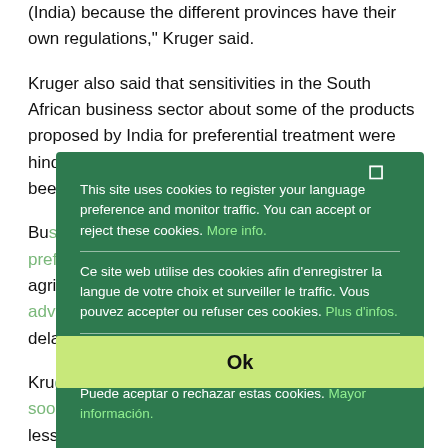(India) because the different provinces have their own regulations," Kruger said.
Kruger also said that sensitivities in the South African business sector about some of the products proposed by India for preferential treatment were hindering the conclusion of the PTA, which has been in negotiation for more than two years now.
Business concerns about the impact that preferential tariffs would have on the textile and agricultural sectors, where India had a greater advantage in these areas, had also led to delaying the finalisation of the PTA.
Kruger was hopeful that the PTA would be finalised soon, but cautioned that it was likely to be much less ambitious than originally planned.
India had requested the inclusion of a wide range of products
This site uses cookies to register your language preference and monitor traffic. You can accept or reject these cookies. More info.
Ce site web utilise des cookies afin d'enregistrer la langue de votre choix et surveiller le traffic. Vous pouvez accepter ou refuser ces cookies. Plus d'infos.
Este sitio web utiliza cookies con el objetivo de registrar su idioma preferido y controlar el tráfico. Puede aceptar o rechazar estas cookies. Mayor información.
Ok